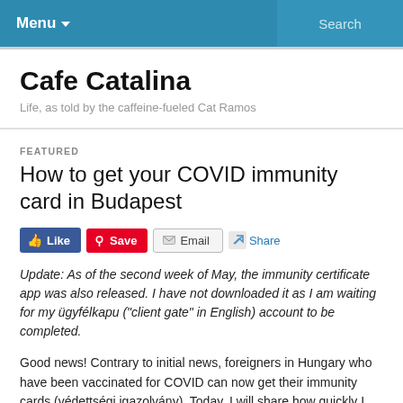Menu ▼   Search
Cafe Catalina
Life, as told by the caffeine-fueled Cat Ramos
FEATURED
How to get your COVID immunity card in Budapest
[Figure (other): Social sharing buttons: Like, Save, Email, Share]
Update: As of the second week of May, the immunity certificate app was also released. I have not downloaded it as I am waiting for my ügyfélkapu ("client gate" in English) account to be completed.
Good news! Contrary to initial news, foreigners in Hungary who have been vaccinated for COVID can now get their immunity cards (védettségi igazolvány). Today, I will share how quickly I was able to apply for mine in three easy steps.
Step 1: Create your account/log in